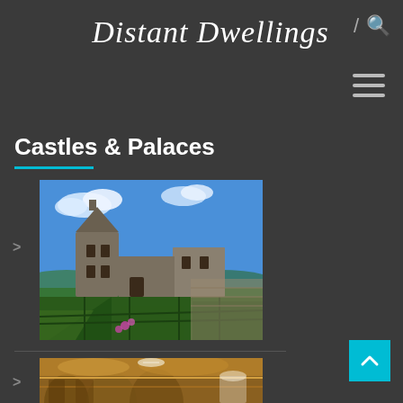Distant Dwellings
[Figure (screenshot): Hamburger menu icon (three horizontal lines)]
Castles & Palaces
[Figure (photo): Photo of a medieval stone castle with formal hedge garden in foreground, blue sky background]
[Figure (photo): Partial view of ornate gilded interior of a palace or church]